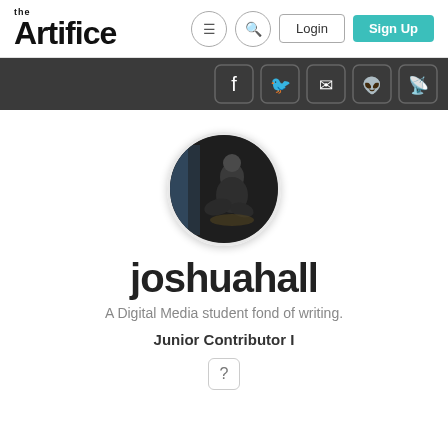the Artifice — Login | Sign Up
[Figure (screenshot): Social media icons bar: Facebook, Twitter, Mail, Reddit, RSS on dark background]
[Figure (photo): Circular profile avatar photo of a person sitting cross-legged near a window in a dark room]
joshuahall
A Digital Media student fond of writing.
Junior Contributor I
[Figure (other): Question mark button/badge]